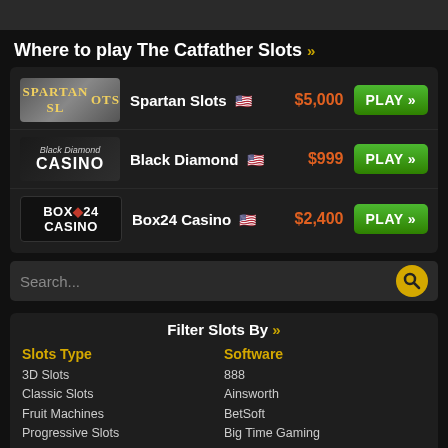Where to play The Catfather Slots »
| Logo | Name | Bonus | Action |
| --- | --- | --- | --- |
| Spartan Slots | Spartan Slots 🇺🇸 | $5,000 | PLAY >> |
| Black Diamond Casino | Black Diamond 🇺🇸 | $999 | PLAY >> |
| Box24 Casino | Box24 Casino 🇺🇸 | $2,400 | PLAY >> |
Search...
Filter Slots By »
Slots Type
3D Slots
Classic Slots
Fruit Machines
Progressive Slots
Video Slots
i-Slots
Reels
3
Software
888
Ainsworth
BetSoft
Big Time Gaming
Booming Games
Booongo
Cryptologic
EGT
ELK Studios